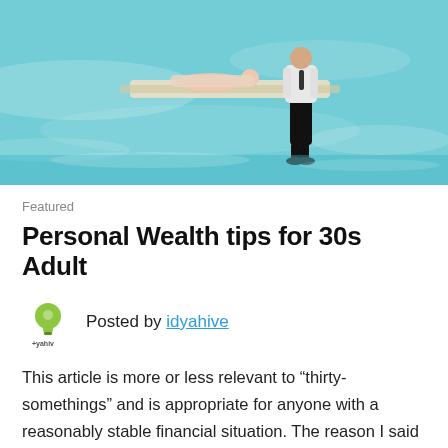[Figure (photo): Two people near a raft or hammock floating in clear turquoise water, one person standing in the water wearing black pants and white jacket, another person lying on the raft.]
Featured
Personal Wealth tips for 30s Adult
Posted by idyahive
This article is more or less relevant to “thirty-somethings” and is appropriate for anyone with a reasonably stable financial situation. The reason I said that is: at around this age most of us get married, start thinking about children and also thinking of house and settling down. Personal wealth takes a more stable and